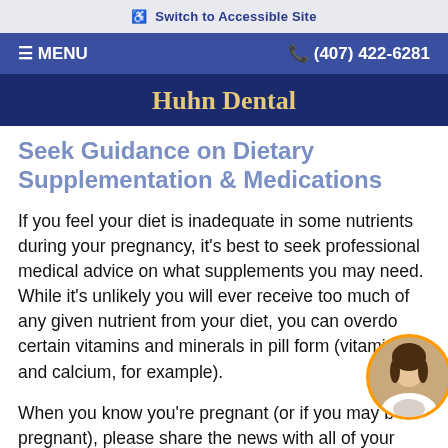♿ Switch to Accessible Site
≡ MENU   ☎ (407) 422-6281
Huhn Dental
Seek Guidance on Dietary Supplementation & Medications
If you feel your diet is inadequate in some nutrients during your pregnancy, it's best to seek professional medical advice on what supplements you may need. While it's unlikely you will ever receive too much of any given nutrient from your diet, you can overdo certain vitamins and minerals in pill form (vitamin D and calcium, for example).
When you know you're pregnant (or if you may be pregnant), please share the news with all of your healthcare professionals who see you. That way, medications that should not be prescribed will be avoided.
[Figure (photo): Circular avatar photo of a young woman with dark hair, wearing professional attire (white coat), with an orange circular border. Positioned in lower-right corner.]